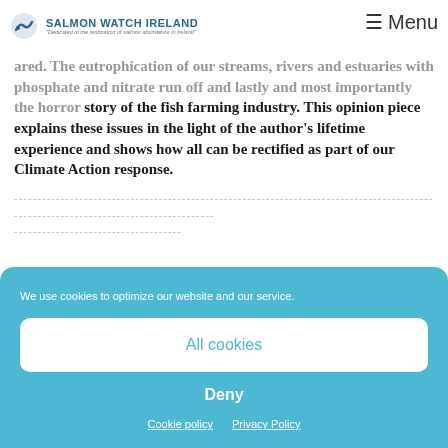SALMON WATCH IRELAND | Menu
ared. The eutrophication of our streams, rivers and estuaries with phosphate and nitrate run off and lastly and most importantly the horror story of the fish farming industry. This opinion piece explains these issues in the light of the author's lifetime experience and shows how all can be rectified as part of our Climate Action response.
We use cookies to optimize our website and our service.
All cookies
Deny
Cookie policy  Privacy Policy